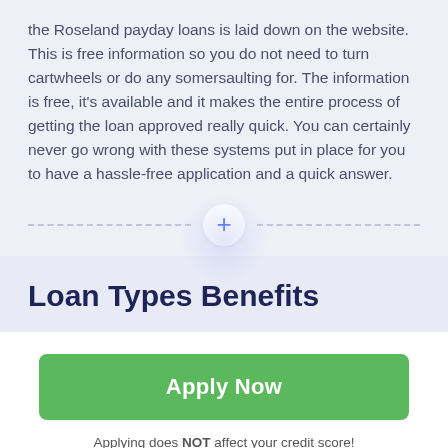the Roseland payday loans is laid down on the website. This is free information so you do not need to turn cartwheels or do any somersaulting for. The information is free, it's available and it makes the entire process of getting the loan approved really quick. You can certainly never go wrong with these systems put in place for you to have a hassle-free application and a quick answer.
Loan Types Benefits
Apply Now
Applying does NOT affect your credit score! No credit check to apply.